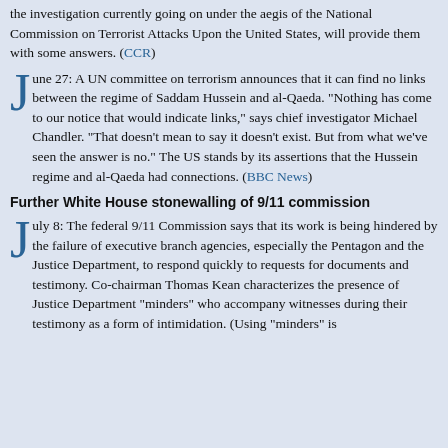the investigation currently going on under the aegis of the National Commission on Terrorist Attacks Upon the United States, will provide them with some answers. (CCR)
June 27: A UN committee on terrorism announces that it can find no links between the regime of Saddam Hussein and al-Qaeda. "Nothing has come to our notice that would indicate links," says chief investigator Michael Chandler. "That doesn't mean to say it doesn't exist. But from what we've seen the answer is no." The US stands by its assertions that the Hussein regime and al-Qaeda had connections. (BBC News)
Further White House stonewalling of 9/11 commission
July 8: The federal 9/11 Commission says that its work is being hindered by the failure of executive branch agencies, especially the Pentagon and the Justice Department, to respond quickly to requests for documents and testimony. Co-chairman Thomas Kean characterizes the presence of Justice Department "minders" who accompany witnesses during their testimony as a form of intimidation. (Using "minders" is